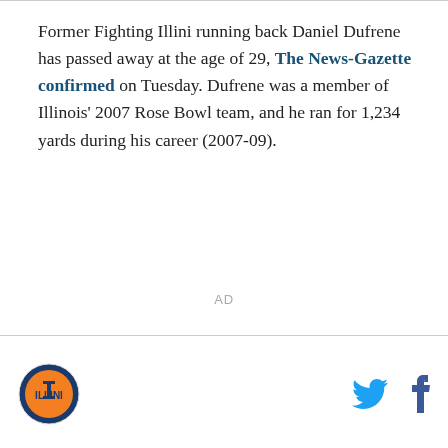Former Fighting Illini running back Daniel Dufrene has passed away at the age of 29, The News-Gazette confirmed on Tuesday. Dufrene was a member of Illinois' 2007 Rose Bowl team, and he ran for 1,234 yards during his career (2007-09).
AD
[Figure (logo): Illinois Fighting Illini circular logo with orange and blue colors]
[Figure (logo): Twitter bird icon in blue]
[Figure (logo): Facebook 'f' icon in dark blue]